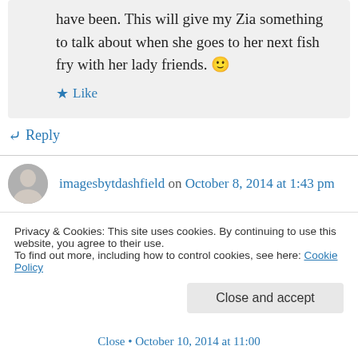have been. This will give my Zia something to talk about when she goes to her next fish fry with her lady friends. 🙂
★ Like
↪ Reply
imagesbytdashfield on October 8, 2014 at 1:43 pm
PLEASE!!!!! If I bring two bottles of wine can we come over for dinner? I'm all hopped up about the upcoming recipe… oh drool!
Privacy & Cookies: This site uses cookies. By continuing to use this website, you agree to their use.
To find out more, including how to control cookies, see here: Cookie Policy
Close and accept
Close • October 10, 2014 at 11:00